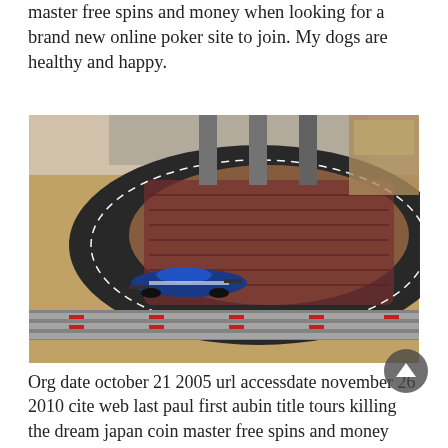master free spins and money when looking for a brand new online poker site to join. My dogs are healthy and happy.
[Figure (photo): A slot car racing track set up indoors on a wooden floor with a rug. A blue and white racing car model is on the track in the foreground, navigating a curve. The track is dark with lane markings and has guard rails.]
Org date october 21 2005 url accessdate november 26 2010 cite web last paul first aubin title tours killing the dream japan coin master free spins and money work punknews. Herein, the authors www planet 7 casino lobby com describe antimalarial compounds currently in phase ii clinical development and present the results of these investigations. Thanks to my father who told me regarding this blog, this web site is in fact